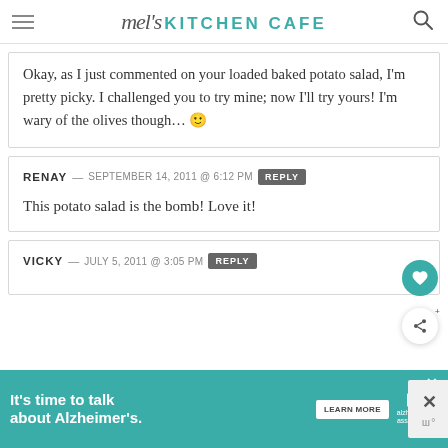mel's KITCHEN CAFE
Okay, as I just commented on your loaded baked potato salad, I'm pretty picky. I challenged you to try mine; now I'll try yours! I'm wary of the olives though… 🙂
RENAY — SEPTEMBER 14, 2011 @ 6:12 PM  REPLY
This potato salad is the bomb! Love it!
VICKY — JULY 5, 2011 @ 3:05 PM  REPLY
[Figure (screenshot): Advertisement banner: 'It's time to talk about Alzheimer's.' with a Learn More button and Alzheimer's Association logo]